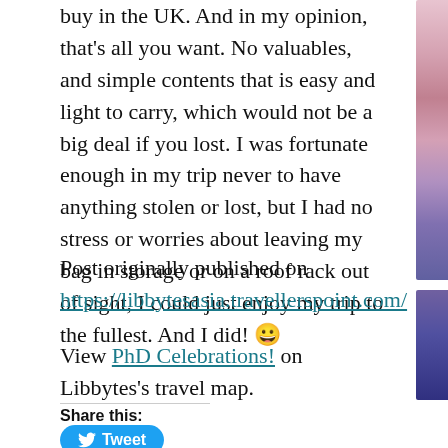buy in the UK. And in my opinion, that's all you want. No valuables, and simple contents that is easy and light to carry, which would not be a big deal if you lost. I was fortunate enough in my trip never to have anything stolen or lost, but I had no stress or worries about leaving my bag in storage or on a roof rack out of sight, I could just enjoy my trip to the fullest. And I did! 😀
Post originally published on https://libbytesasia.travellerspoint.com/
View PhD Celebrations! on Libbytes's travel map.
Share this:
Tweet